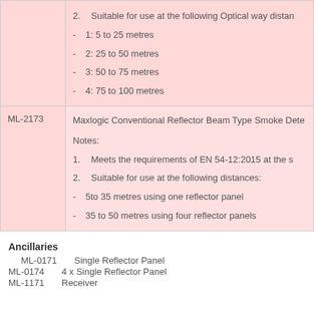| Code | Description |
| --- | --- |
|  | 2. Suitable for use at the following Optical way distances:
- 1: 5 to 25 metres
- 2: 25 to 50 metres
- 3: 50 to 75 metres
- 4: 75 to 100 metres |
| ML-2173 | Maxlogic Conventional Reflector Beam Type Smoke Detector
Notes:
1. Meets the requirements of EN 54-12:2015 at the s
2. Suitable for use at the following distances:
- 5to 35 metres using one reflector panel
- 35 to 50 metres using four reflector panels |
Ancillaries
ML-0171    Single Reflector Panel
ML-0174    4 x Single Reflector Panel
ML-1171    Receiver